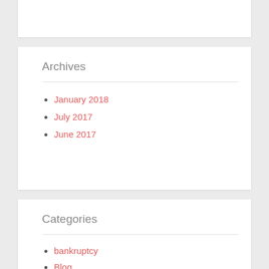Archives
January 2018
July 2017
June 2017
Categories
bankruptcy
Blog
Personal Injury
workers' compensation